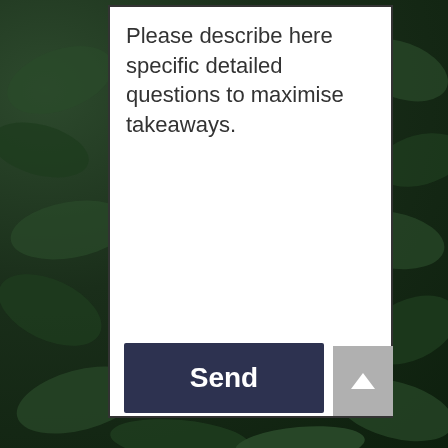[Figure (screenshot): Dark green leafy background behind a white form panel]
Please describe here specific detailed questions to maximise takeaways.
Send